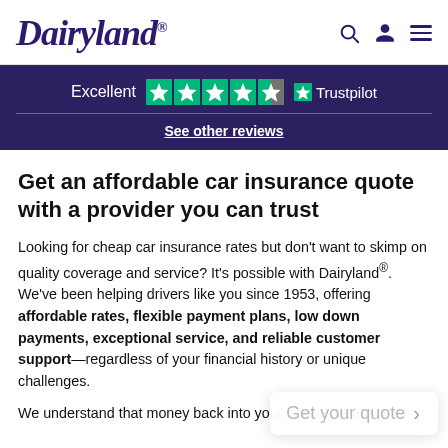Dairyland
Excellent ★★★★½ Trustpilot
See other reviews
Get an affordable car insurance quote with a provider you can trust
Looking for cheap car insurance rates but don't want to skimp on quality coverage and service? It's possible with Dairyland®. We've been helping drivers like you since 1953, offering affordable rates, flexible payment plans, low down payments, exceptional service, and reliable customer support—regardless of your financial history or unique challenges.
We understand that money back into your pocket means a